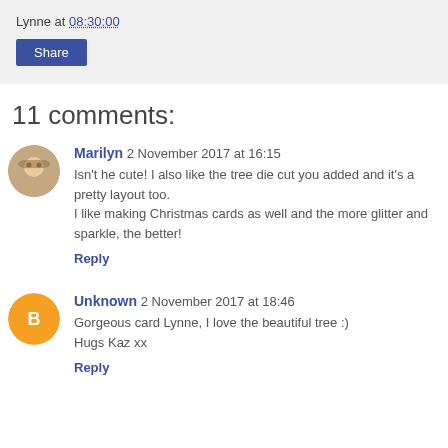Lynne at 08:30:00
Share
11 comments:
Marilyn 2 November 2017 at 16:15
Isn't he cute! I also like the tree die cut you added and it's a pretty layout too.
I like making Christmas cards as well and the more glitter and sparkle, the better!
Reply
Unknown 2 November 2017 at 18:46
Gorgeous card Lynne, I love the beautiful tree :)
Hugs Kaz xx
Reply